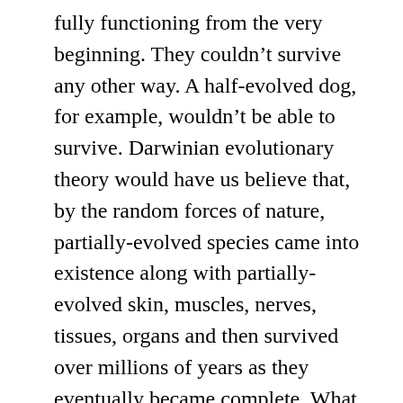fully functioning from the very beginning. They couldn't survive any other way. A half-evolved dog, for example, wouldn't be able to survive. Darwinian evolutionary theory would have us believe that, by the random forces of nature, partially-evolved species came into existence along with partially-evolved skin, muscles, nerves, tissues, organs and then survived over millions of years as they eventually became complete. What utter nonsense!
Noah didn't have to seek for the animals. God said He would bring the animals to Noah. God may very well have caused the animals to hibernate in the Ark so feeding and taking care of them wouldn't